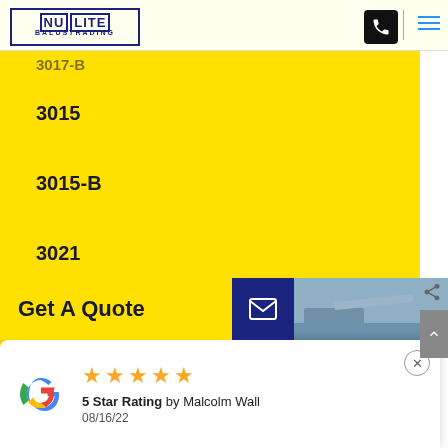Nu Lite Balustrading
3017-B
3015
3015-B
3021
3021-B
Get A Quote
[Figure (screenshot): Blue balustrading image strip]
5 Star Rating by Malcolm Wall
08/16/22